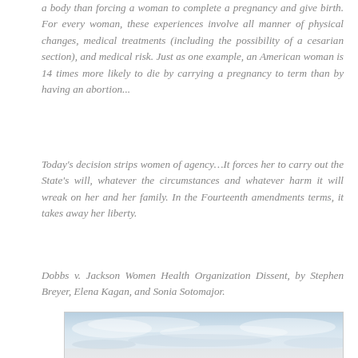a body than forcing a woman to complete a pregnancy and give birth. For every woman, these experiences involve all manner of physical changes, medical treatments (including the possibility of a cesarian section), and medical risk. Just as one example, an American woman is 14 times more likely to die by carrying a pregnancy to term than by having an abortion...
Today's decision strips women of agency…It forces her to carry out the State's will, whatever the circumstances and whatever harm it will wreak on her and her family. In the Fourteenth amendments terms, it takes away her liberty.
Dobbs v. Jackson Women Health Organization Dissent, by Stephen Breyer, Elena Kagan, and Sonia Sotomajor.
[Figure (photo): Photograph of a cloudy sky with light blue and grey tones, partial view cropped at bottom of page.]